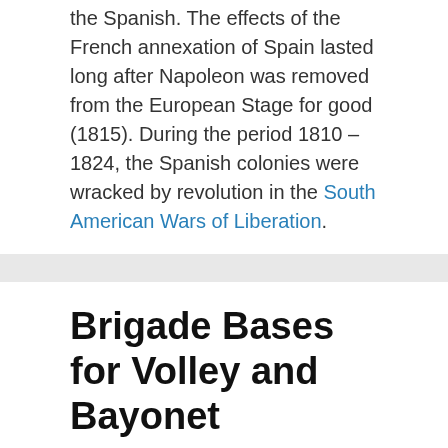the Spanish. The effects of the French annexation of Spain lasted long after Napoleon was removed from the European Stage for good (1815). During the period 1810 – 1824, the Spanish colonies were wracked by revolution in the South American Wars of Liberation.
Brigade Bases for Volley and Bayonet
6 May 2013 by Steven Thomas
Volley & Bayonet has big bases. Pretty much all troops are based on 3″ x 3″ bases; you